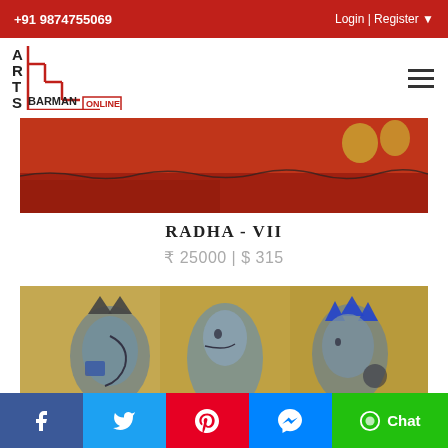+91 9874755069 | Login | Register
[Figure (logo): Arts Barman Online logo with staircase design in red and black]
[Figure (photo): Close-up of painting showing red background with abstract shapes, partial view of Radha - VII artwork]
RADHA - VII
₹ 25000 | $ 315
[Figure (photo): Painting showing three figures with crowns in muted yellows and blues, Indian folk art style]